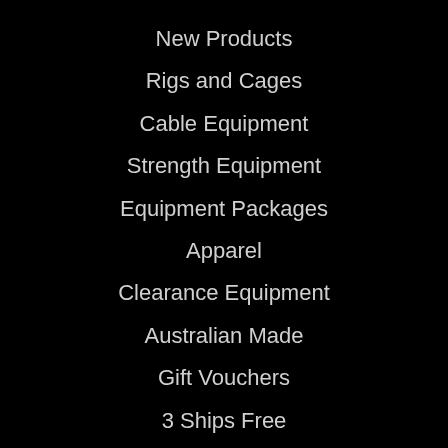New Products
Rigs and Cages
Cable Equipment
Strength Equipment
Equipment Packages
Apparel
Clearance Equipment
Australian Made
Gift Vouchers
3 Ships Free
About Us
Fitouts
Manufacturing